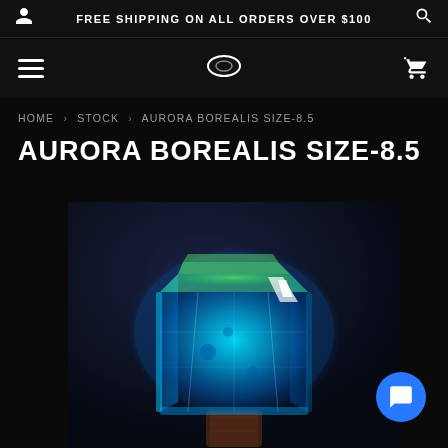FREE SHIPPING ON ALL ORDERS OVER $100
Navigation bar with hamburger menu, logo, and cart icon
HOME › STOCK › AURORA BOREALIS SIZE-8.5
AURORA BOREALIS SIZE-8.5
[Figure (photo): Close-up photo of a translucent blue-green gemstone or crystal keycap with glowing aurora borealis coloring, set against a dark background]